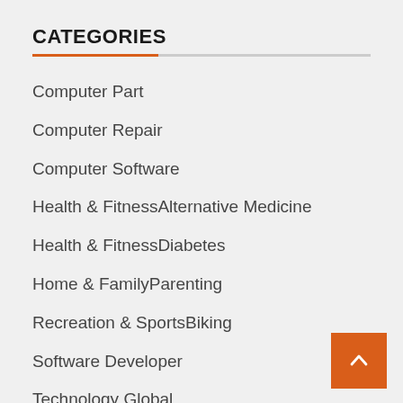CATEGORIES
Computer Part
Computer Repair
Computer Software
Health & FitnessAlternative Medicine
Health & FitnessDiabetes
Home & FamilyParenting
Recreation & SportsBiking
Software Developer
Technology Global
Technology News